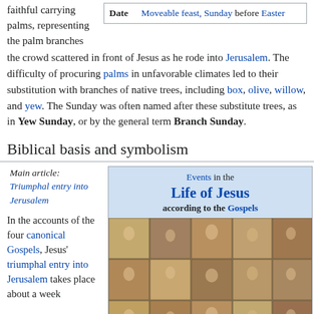faithful carrying palms, representing the palm branches
| Date |  |
| --- | --- |
| Date | Moveable feast, Sunday before Easter |
the crowd scattered in front of Jesus as he rode into Jerusalem. The difficulty of procuring palms in unfavorable climates led to their substitution with branches of native trees, including box, olive, willow, and yew. The Sunday was often named after these substitute trees, as in Yew Sunday, or by the general term Branch Sunday.
Biblical basis and symbolism
Main article: Triumphal entry into Jerusalem
In the accounts of the four canonical Gospels, Jesus' triumphal entry into Jerusalem takes place about a week
[Figure (infographic): Events in the Life of Jesus according to the Gospels - infobox with collage of religious paintings]